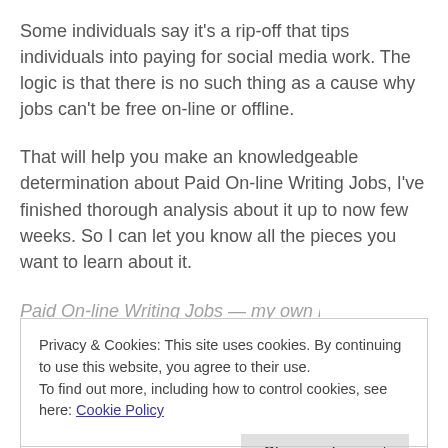Some individuals say it's a rip-off that tips individuals into paying for social media work. The logic is that there is no such thing as a cause why jobs can't be free on-line or offline.
That will help you make an knowledgeable determination about Paid On-line Writing Jobs, I've finished thorough analysis about it up to now few weeks. So I can let you know all the pieces you want to learn about it.
Privacy & Cookies: This site uses cookies. By continuing to use this website, you agree to their use.
To find out more, including how to control cookies, see here: Cookie Policy